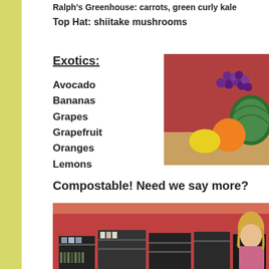Ralph's Greenhouse: carrots, green curly kale
Top Hat:  shiitake mushrooms
Exotics:
Avocado
Bananas
Grapes
Grapefruit
Oranges
Lemons
[Figure (photo): Photo of assorted exotic fruits including grapes, watermelon, orange, and lemon on a red/brown background]
Compostable!  Need we say more?
[Figure (photo): Photo of a store interior with shelves of products and a person with blonde hair visible on the right side]